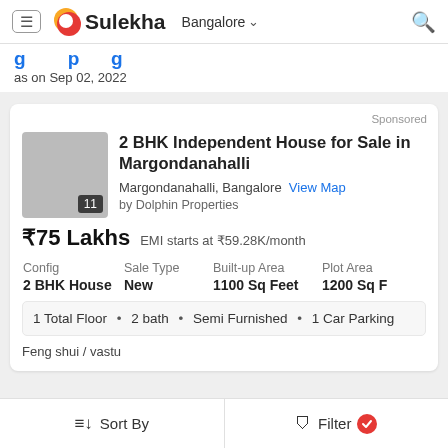Sulekha — Bangalore
as on Sep 02, 2022
Sponsored
2 BHK Independent House for Sale in Margondanahalli
Margondanahalli, Bangalore  View Map
by Dolphin Properties
₹75 Lakhs  EMI starts at ₹59.28K/month
| Config | Sale Type | Built-up Area | Plot Area |
| --- | --- | --- | --- |
| 2 BHK House | New | 1100 Sq Feet | 1200 Sq F |
1 Total Floor  •  2 bath  •  Semi Furnished  •  1 Car Parking
Feng shui / vastu
Sort By    Filter